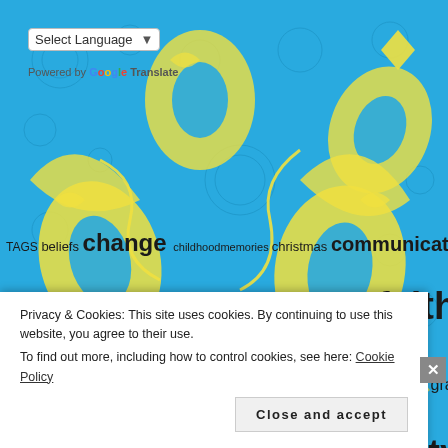[Figure (illustration): Blue and yellow decorative floral/paisley pattern background covering the full page]
Select Language (dropdown)
Powered by Google Translate
TAGS beliefs change childhoodmemories christmas communication community compassion dreams empathy encouragement Essay faith family flannel forgiveness friends friendship God grace gratitude grit growth healing history home hope humanity inspiration journey kids
Privacy & Cookies: This site uses cookies. By continuing to use this website, you agree to their use.
To find out more, including how to control cookies, see here: Cookie Policy
Close and accept